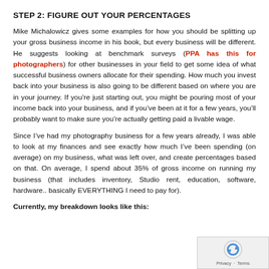STEP 2: FIGURE OUT YOUR PERCENTAGES
Mike Michalowicz gives some examples for how you should be splitting up your gross business income in his book, but every business will be different. He suggests looking at benchmark surveys (PPA has this for photographers) for other businesses in your field to get some idea of what successful business owners allocate for their spending. How much you invest back into your business is also going to be different based on where you are in your journey. If you’re just starting out, you might be pouring most of your income back into your business, and if you’ve been at it for a few years, you’ll probably want to make sure you’re actually getting paid a livable wage.
Since I’ve had my photography business for a few years already, I was able to look at my finances and see exactly how much I’ve been spending (on average) on my business, what was left over, and create percentages based on that. On average, I spend about 35% of gross income on running my business (that includes inventory, Studio rent, education, software, hardware.. basically EVERYTHING I need to pay for).
Currently, my breakdown looks like this: